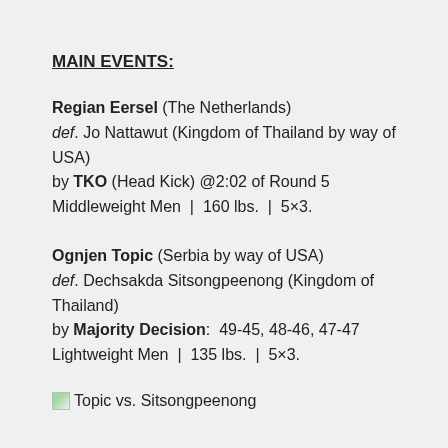MAIN EVENTS:
Regian Eersel (The Netherlands) def. Jo Nattawut (Kingdom of Thailand by way of USA) by TKO (Head Kick) @2:02 of Round 5 Middleweight Men | 160 lbs. | 5×3.
Ognjen Topic (Serbia by way of USA) def. Dechsakda Sitsongpeenong (Kingdom of Thailand) by Majority Decision: 49-45, 48-46, 47-47 Lightweight Men | 135 lbs. | 5×3.
[Figure (photo): Small broken image icon followed by caption: Topic vs. Sitsongpeenong]